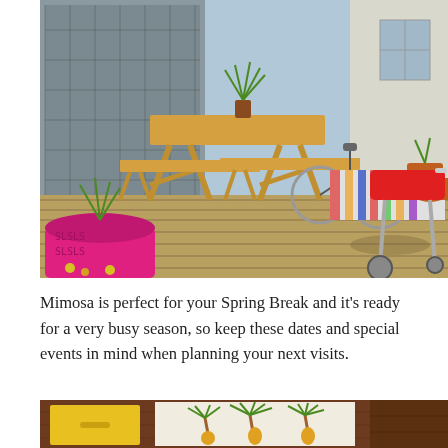[Figure (photo): Outdoor wooden deck with a picnic table and benches, a potted tropical plant on the table, a bright pink decorative pot with a plant in the foreground, a red charcoal grill on wheels on the right, a bicycle leaning against the house, and a striped tablecloth on a table in the background. A screened porch and white siding house are visible behind.]
Mimosa is perfect for your Spring Break and it's ready for a very busy season, so keep these dates and special events in mind when planning your next visits.
[Figure (photo): Bottom portion of an image showing what appears to be wooden cabinetry or furniture with a yellow drawer and a decorative panel featuring painted palm tree artwork.]